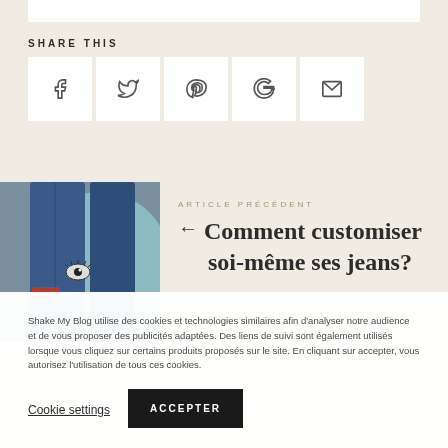SHARE THIS
[Figure (other): Row of five social share buttons: Facebook, Twitter, Pinterest, Google+, Email]
[Figure (photo): Photo of jeans with embroidered patches including a red patch and an eye patch, with teal circular background]
ARTICLE PRÉCÉDENT
← Comment customiser soi-même ses jeans?
Shake My Blog utilise des cookies et technologies similaires afin d'analyser notre audience et de vous proposer des publicités adaptées. Des liens de suivi sont également utilisés lorsque vous cliquez sur certains produits proposés sur le site. En cliquant sur accepter, vous autorisez l'utilisation de tous ces cookies.
Cookie settings
ACCEPTER